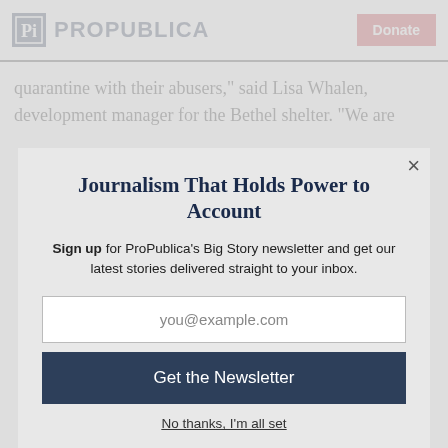ProPublica | Donate
quarantine with their abusers,” said Lisa Whalen, development manager for the Bethel shelter. “We are
Journalism That Holds Power to Account
Sign up for ProPublica’s Big Story newsletter and get our latest stories delivered straight to your inbox.
you@example.com
Get the Newsletter
No thanks, I’m all set
This site is protected by reCAPTCHA and the Google Privacy Policy and Terms of Service apply.